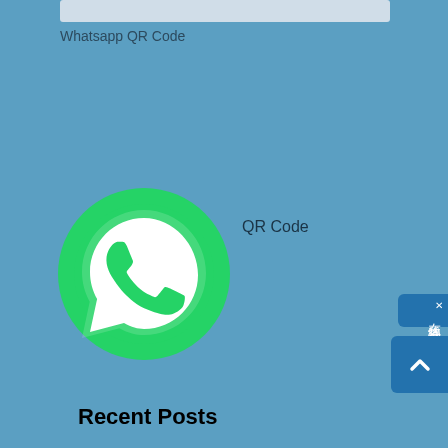[Figure (screenshot): Top bar / input field placeholder truncated at top of page]
Whatsapp QR Code
[Figure (logo): WhatsApp green circular logo with phone handset icon]
QR Code
Recent Posts
[Figure (screenshot): Side chat button with Chinese text: 在线咨询 (Online Consultation) and close X icon]
[Figure (screenshot): Scroll to top button with upward chevron arrow]